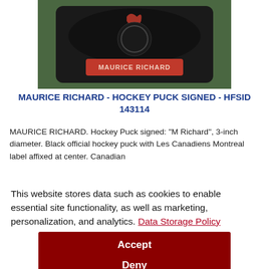[Figure (photo): A black hockey puck displayed in a black holder/stand. The puck has a red label affixed at the center reading 'MAURICE RICHARD'. The puck sits on a green surface.]
MAURICE RICHARD - HOCKEY PUCK SIGNED - HFSID 143114
MAURICE RICHARD. Hockey Puck signed: "M Richard", 3-inch diameter. Black official hockey puck with Les Canadiens Montreal label affixed at center. Canadian
This website stores data such as cookies to enable essential site functionality, as well as marketing, personalization, and analytics. Data Storage Policy
Accept
Deny